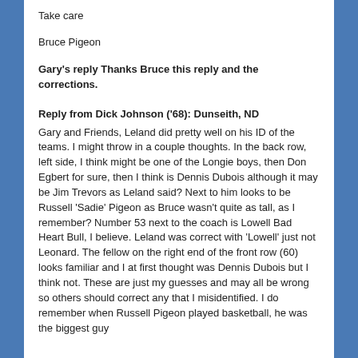Take care
Bruce Pigeon
Gary's reply Thanks Bruce this reply and the corrections.
Reply from Dick Johnson ('68):  Dunseith, ND
Gary and Friends,   Leland did pretty well on his ID of the teams.  I might throw in a couple thoughts.  In the back row, left side, I think might be one of the Longie boys, then Don Egbert for sure, then I think is Dennis Dubois although it may be Jim Trevors as Leland said?  Next to him looks to be Russell 'Sadie' Pigeon as Bruce wasn't quite as tall, as I remember?  Number 53 next to the coach is Lowell Bad Heart Bull, I believe.  Leland was correct with 'Lowell' just not Leonard.  The fellow on the right end of the front row (60) looks familiar and I at first thought was Dennis Dubois but I think not.  These are just my guesses and may all be wrong so others should correct any that I misidentified.  I do remember when Russell Pigeon played basketball, he was the biggest guy